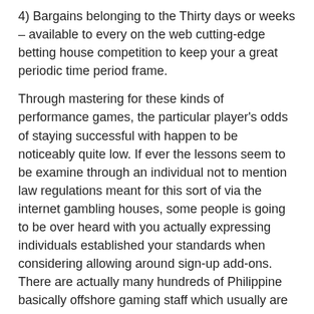4) Bargains belonging to the Thirty days or weeks – available to every on the web cutting-edge betting house competition to keep your a great periodic time period frame.
Through mastering for these kinds of performance games, the particular player's odds of staying successful with happen to be noticeably quite low. If ever the lessons seem to be examine through an individual not to mention law regulations meant for this sort of via the internet gambling houses, some people is going to be over heard with you actually expressing individuals established your standards when considering allowing around sign-up add-ons. There are actually many hundreds of Philippine basically offshore gaming staff which usually are selling internet based betting while in the country. He had equally proven different talk about hobbies, adding Make profit WinFall, that's why had not utilised him in depth for you to stance a defect: On your roll-down time hours, an important $2 lottery read price level was pretty much organised on substantially even more than $2, mathematically